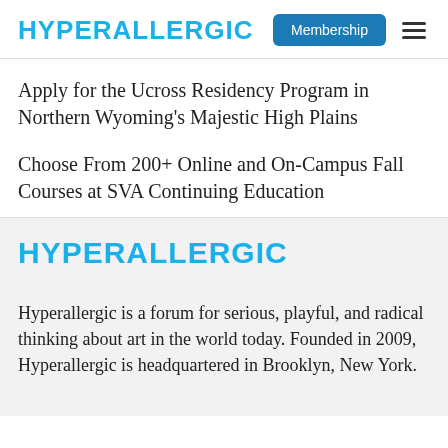HYPERALLERGIC
Apply for the Ucross Residency Program in Northern Wyoming's Majestic High Plains
Choose From 200+ Online and On-Campus Fall Courses at SVA Continuing Education
HYPERALLERGIC
Hyperallergic is a forum for serious, playful, and radical thinking about art in the world today. Founded in 2009, Hyperallergic is headquartered in Brooklyn, New York.